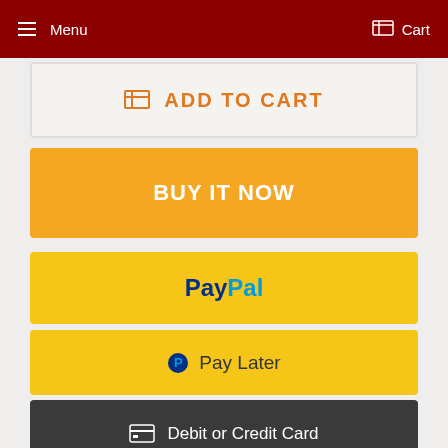Menu  Cart
ADD TO CART
BUY IT NOW
[Figure (logo): PayPal button with PayPal logo text in blue]
Pay Later
Debit or Credit Card
WE ALSO RECOMMEND